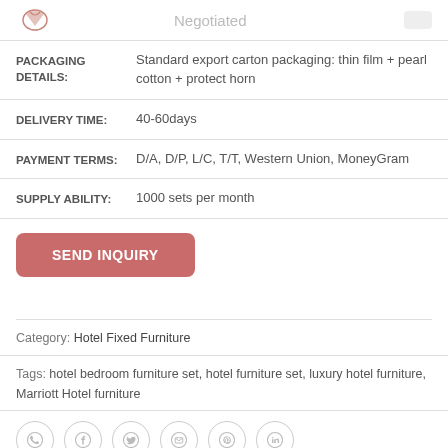Negotiated
| PACKAGING DETAILS: | Standard export carton packaging: thin film + pearl cotton + protect horn |
| DELIVERY TIME: | 40-60days |
| PAYMENT TERMS: | D/A, D/P, L/C, T/T, Western Union, MoneyGram |
| SUPPLY ABILITY: | 1000 sets per month |
SEND INQUIRY
Category: Hotel Fixed Furniture
Tags: hotel bedroom furniture set, hotel furniture set, luxury hotel furniture, Marriott Hotel furniture
[Figure (illustration): Social media share icons: WhatsApp, Facebook, Twitter, Email, Pinterest, LinkedIn]